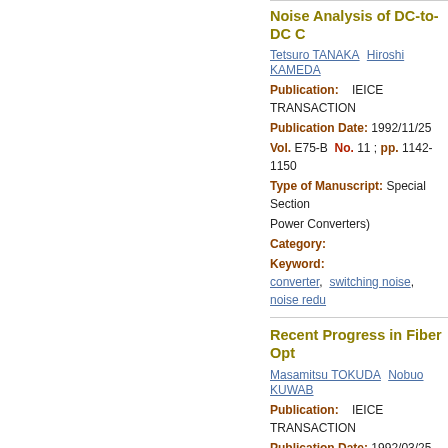Noise Analysis of DC-to-DC C
Tetsuro TANAKA  Hiroshi KAMEDA
Publication:   IEICE TRANSACTION
Publication Date: 1992/11/25
Vol. E75-B  No. 11 ; pp. 1142-1150
Type of Manuscript:  Special Section
Power Converters)
Category:
Keyword:
converter,  switching noise,  noise redu
Recent Progress in Fiber Opt
Masamitsu TOKUDA  Nobuo KUWAB
Publication:   IEICE TRANSACTION
Publication Date: 1992/03/25
Vol. E75-B  No. 3 ; pp. 107-114
Type of Manuscript:  INVITED PAP
Interference)
Category:
Keyword:
EMC,  EMI,  fiber optic antenna,  electr